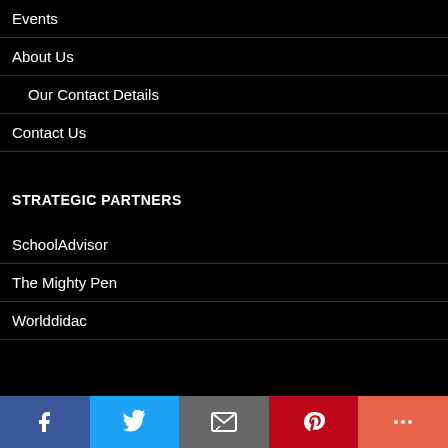Events
About Us
Our Contact Details
Contact Us
STRATEGIC PARTNERS
SchoolAdvisor
The Mighty Pen
Worlddidac
RECENT COMMENTS
Social share bar: Facebook, Twitter, Email, Pinterest, More